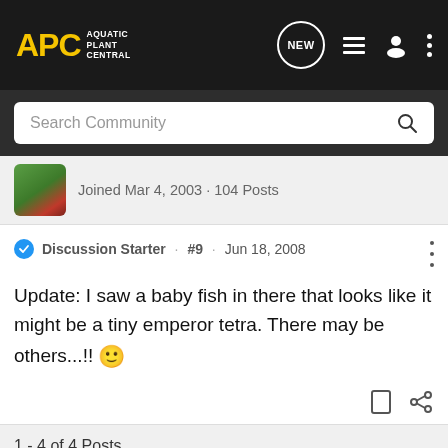APC AQUATIC PLANT CENTRAL
Joined Mar 4, 2003 · 104 Posts
Discussion Starter · #9 · Jun 18, 2008
Update: I saw a baby fish in there that looks like it might be a tiny emperor tetra. There may be others...!! 🙂
1 - 4 of 4 Posts
This is an older thread, you may not receive a response, and could be